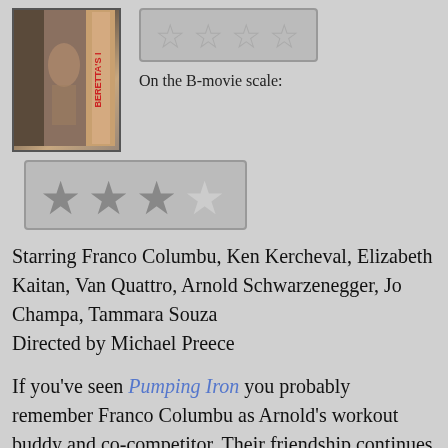[Figure (photo): Movie cover for Beretta's Island showing a muscular figure, with vertical title text on spine]
[Figure (other): Empty star rating box (0 out of 4 stars) on the normal scale]
On the B-movie scale:
[Figure (other): 3.5 out of 4 stars rating on the B-movie scale (large stars box)]
Starring Franco Columbu, Ken Kercheval, Elizabeth Kaitan, Van Quattro, Arnold Schwarzenegger, Jo Champa, Tammara Souza
Directed by Michael Preece
If you've seen Pumping Iron you probably remember Franco Columbu as Arnold's workout buddy and co-competitor. Their friendship continues to this day, and in a lot of early Arnold movies Franco is somewhere in the background in a small role. So it only